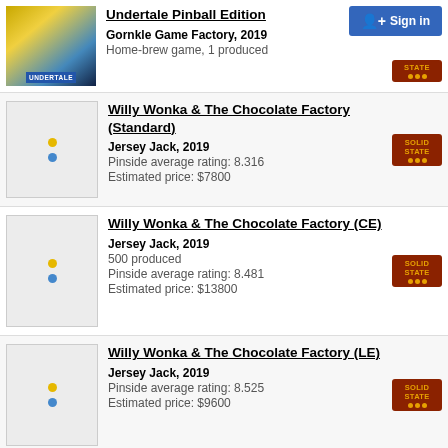Undertale Pinball Edition — Gornkle Game Factory, 2019 — Home-brew game, 1 produced
Willy Wonka & The Chocolate Factory (Standard) — Jersey Jack, 2019 — Pinside average rating: 8.316 — Estimated price: $7800
Willy Wonka & The Chocolate Factory (CE) — Jersey Jack, 2019 — 500 produced — Pinside average rating: 8.481 — Estimated price: $13800
Willy Wonka & The Chocolate Factory (LE) — Jersey Jack, 2019 — Pinside average rating: 8.525 — Estimated price: $9600